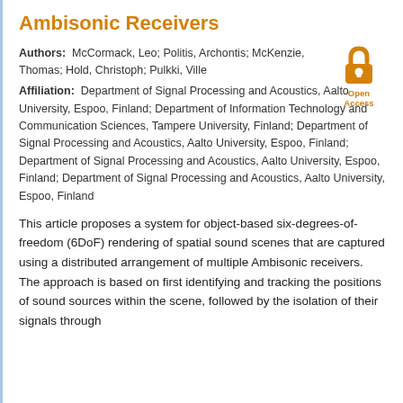Ambisonic Receivers
Authors: McCormack, Leo; Politis, Archontis; McKenzie, Thomas; Hold, Christoph; Pulkki, Ville
Affiliation: Department of Signal Processing and Acoustics, Aalto University, Espoo, Finland; Department of Information Technology and Communication Sciences, Tampere University, Finland; Department of Signal Processing and Acoustics, Aalto University, Espoo, Finland; Department of Signal Processing and Acoustics, Aalto University, Espoo, Finland; Department of Signal Processing and Acoustics, Aalto University, Espoo, Finland
This article proposes a system for object-based six-degrees-of-freedom (6DoF) rendering of spatial sound scenes that are captured using a distributed arrangement of multiple Ambisonic receivers. The approach is based on first identifying and tracking the positions of sound sources within the scene, followed by the isolation of their signals through